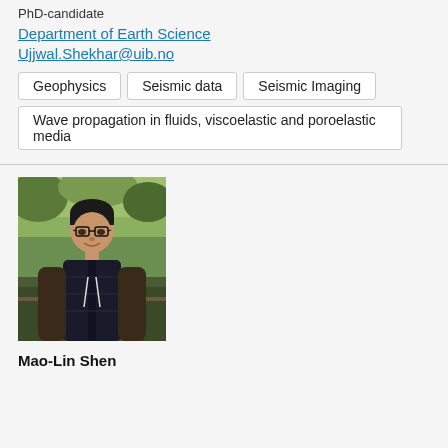PhD-candidate
Department of Earth Science
Ujjwal.Shekhar@uib.no
Geophysics
Seismic data
Seismic Imaging
Wave propagation in fluids, viscoelastic and poroelastic media
[Figure (photo): Portrait photo of a young Asian man wearing glasses and a dark puffer vest, smiling, outdoors with trees in background]
Mao-Lin Shen